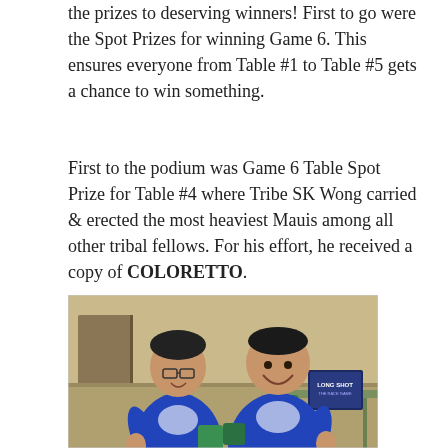the prizes to deserving winners! First to go were the Spot Prizes for winning Game 6. This ensures everyone from Table #1 to Table #5 gets a chance to win something.
First to the podium was Game 6 Table Spot Prize for Table #4 where Tribe SK Wong carried & erected the most heaviest Mauis among all other tribal fellows. For his effort, he received a copy of COLORETTO.
[Figure (photo): Two men wearing matching blue T-shirts with a white design, smiling and posing at a table. A board game box labeled 'LONG SHOT' is visible on the right side of the table. The background shows a beige/cream colored wall and some furniture.]